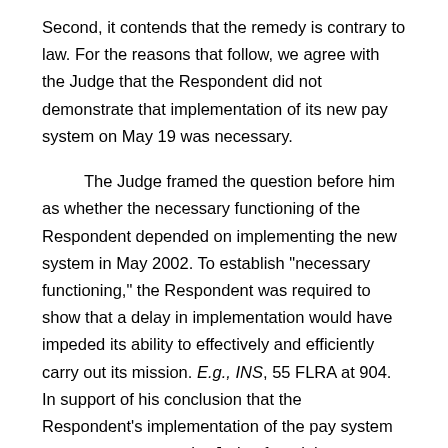Second, it contends that the remedy is contrary to law. For the reasons that follow, we agree with the Judge that the Respondent did not demonstrate that implementation of its new pay system on May 19 was necessary.
The Judge framed the question before him as whether the necessary functioning of the Respondent depended on implementing the new system in May 2002. To establish "necessary functioning," the Respondent was required to show that a delay in implementation would have impeded its ability to effectively and efficiently carry out its mission. E.g., INS, 55 FLRA at 904. In support of his conclusion that the Respondent's implementation of the pay system was not necessary, the Judge found that past pay raises had resulted in only short-term reductions in attrition, that the Respondent could use other financial inducements to retain employees, and that this pay raise was at the low end of the pay scale when compared to other financial [ v62 p437 ] regulatory